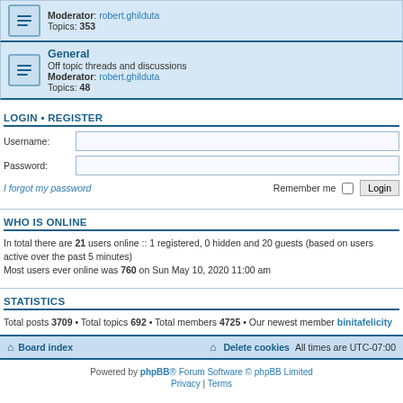Moderator: robert.ghilduta Topics: 353
General
Off topic threads and discussions
Moderator: robert.ghilduta
Topics: 48
LOGIN • REGISTER
Username:
Password:
I forgot my password
Remember me  Login
WHO IS ONLINE
In total there are 21 users online :: 1 registered, 0 hidden and 20 guests (based on users active over the past 5 minutes)
Most users ever online was 760 on Sun May 10, 2020 11:00 am
STATISTICS
Total posts 3709 • Total topics 692 • Total members 4725 • Our newest member binitafelicity
Board index  Delete cookies  All times are UTC-07:00
Powered by phpBB® Forum Software © phpBB Limited
Privacy | Terms